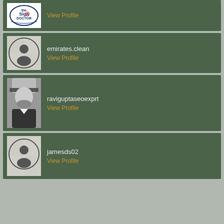[Figure (logo): The Sign Doctor logo - partial view at top]
View Profile
[Figure (illustration): Default avatar placeholder icon (circle with person silhouette)]
emirates.clean
View Profile
[Figure (photo): Black and white photo of a man wearing a cap and beard]
raviguptaseoexprt
View Profile
[Figure (illustration): Default avatar placeholder icon (circle with person silhouette)]
jamesds02
View Profile